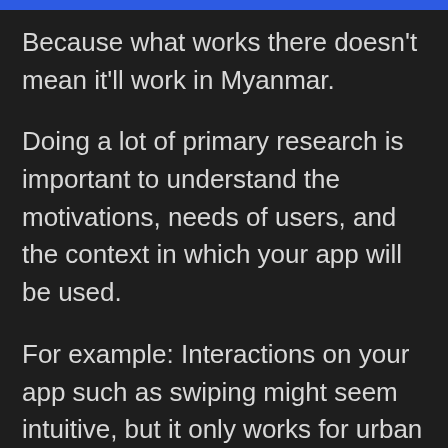Because what works there doesn't mean it'll work in Myanmar.
Doing a lot of primary research is important to understand the motivations, needs of users, and the context in which your app will be used.
For example: Interactions on your app such as swiping might seem intuitive, but it only works for urban users. It might not work for users in rural areas, not because they don't yet know how to use a